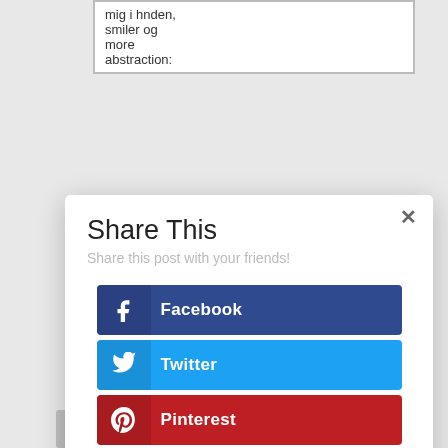| mig i hnden, smiler og more abstraction: |
W re re o Se
[Figure (screenshot): Share This modal dialog with social sharing buttons: Facebook (dark blue), Twitter (light blue), Pinterest (dark red), Gmail (orange-red), LinkedIn (blue). Has a close (×) button in top-right corner. Subtitle: 'Share this post with your friends!']